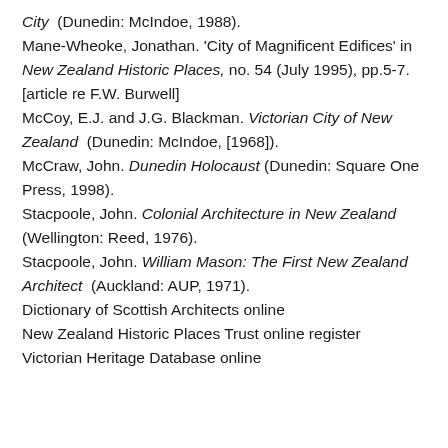City (Dunedin: McIndoe, 1988).
Mane-Wheoke, Jonathan. 'City of Magnificent Edifices' in New Zealand Historic Places, no. 54 (July 1995), pp.5-7. [article re F.W. Burwell]
McCoy, E.J. and J.G. Blackman. Victorian City of New Zealand (Dunedin: McIndoe, [1968]).
McCraw, John. Dunedin Holocaust (Dunedin: Square One Press, 1998).
Stacpoole, John. Colonial Architecture in New Zealand (Wellington: Reed, 1976).
Stacpoole, John. William Mason: The First New Zealand Architect (Auckland: AUP, 1971).
Dictionary of Scottish Architects online
New Zealand Historic Places Trust online register
Victorian Heritage Database online